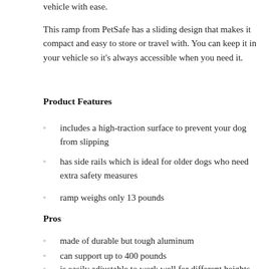vehicle with ease.
This ramp from PetSafe has a sliding design that makes it compact and easy to store or travel with. You can keep it in your vehicle so it's always accessible when you need it.
Product Features
includes a high-traction surface to prevent your dog from slipping
has side rails which is ideal for older dogs who need extra safety measures
ramp weighs only 13 pounds
Pros
made of durable but tough aluminum
can support up to 400 pounds
is easily adjustable to work well for different heights